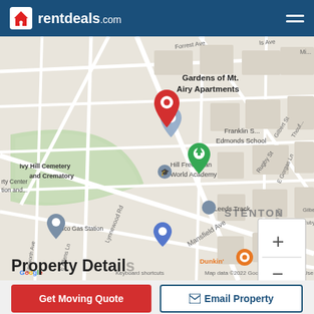rentdeals.com
[Figure (map): Google Map showing Gardens of Mt. Airy Apartments location with red pin marker, showing surrounding streets including Mansfield Ave, Lynnewood Rd, landmarks including Ivy Hill Cemetery and Crematory, Franklin S Edmonds School, Hill Freedman World Academy, Leeds Track, Stenton neighborhood, Dunkin shop, and Amoco Gas Station. Map data ©2022 Google.]
Property Details
Get Moving Quote
Email Property